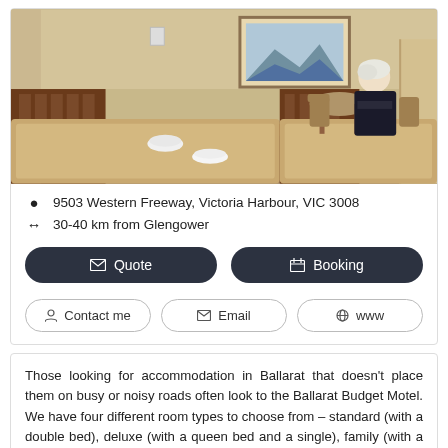[Figure (photo): Interior photo of a motel room showing two beds with beige/tan bedspreads and rolled white towels placed on top. In the background, an elderly person with white hair wearing dark clothing sits at a small table with chairs. A framed picture hangs on the wall above. The room has warm beige/cream colored walls.]
9503 Western Freeway, Victoria Harbour, VIC 3008
30-40 km from Glengower
Quote
Booking
Contact me
Email
www
Those looking for accommodation in Ballarat that doesn’t place them on busy or noisy roads often look to the Ballarat Budget Motel. We have four different room types to choose from – standard (with a double bed), deluxe (with a queen bed and a single), family (with a double bed, single bed and bunk bed) and two bedroom (with a queen bed and two singles). We pride ourselves on offering accommodation that is